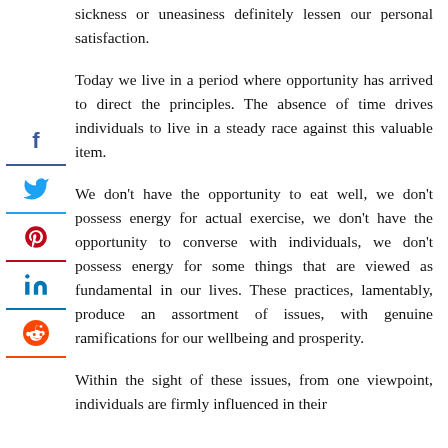sickness or uneasiness definitely lessen our personal satisfaction.
Today we live in a period where opportunity has arrived to direct the principles. The absence of time drives individuals to live in a steady race against this valuable item.
We don't have the opportunity to eat well, we don't possess energy for actual exercise, we don't have the opportunity to converse with individuals, we don't possess energy for some things that are viewed as fundamental in our lives. These practices, lamentably, produce an assortment of issues, with genuine ramifications for our wellbeing and prosperity.
Within the sight of these issues, from one viewpoint, individuals are firmly influenced in their